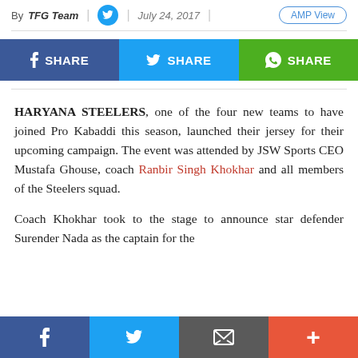By TFG Team | July 24, 2017 | AMP View
[Figure (infographic): Social share buttons row: Facebook SHARE (blue), Twitter SHARE (cyan/blue), WhatsApp SHARE (green)]
HARYANA STEELERS, one of the four new teams to have joined Pro Kabaddi this season, launched their jersey for their upcoming campaign. The event was attended by JSW Sports CEO Mustafa Ghouse, coach Ranbir Singh Khokhar and all members of the Steelers squad.
Coach Khokhar took to the stage to announce star defender Surender Nada as the captain for the